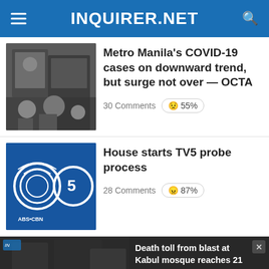INQUIRER.NET
[Figure (photo): People wearing masks on street, COVID-19 related photo]
Metro Manila’s COVID-19 cases on downward trend, but surge not over — OCTA
30 Comments 😕 55%
[Figure (photo): ABS-CBN and TV5 logos side by side]
House starts TV5 probe process
28 Comments 😠 87%
[Figure (screenshot): Video player showing death toll from blast at Kabul mosque reaches 21, with error message overlay]
Death toll from blast at Kabul mosque reaches 21
The media could not be loaded, either because the server or network failed or because the format is not supported.